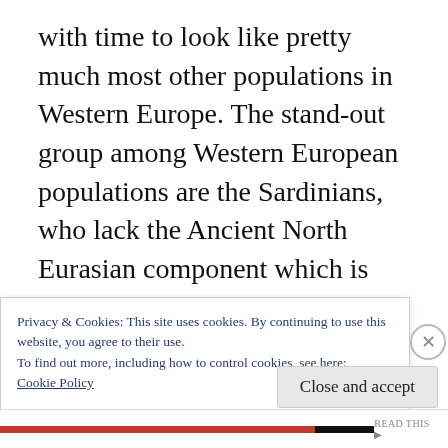with time to look like pretty much most other populations in Western Europe. The stand-out group among Western European populations are the Sardinians, who lack the Ancient North Eurasian component which is present in all other European populations to some extent, thought due to geographic isolation during the period around the end of the Neolithic/beginning of the Bronze Age when pastoralists from the Pontic-Caspian steppe entered Europe in a wave of migrations. But,
Privacy & Cookies: This site uses cookies. By continuing to use this website, you agree to their use.
To find out more, including how to control cookies, see here:
Cookie Policy
Close and accept